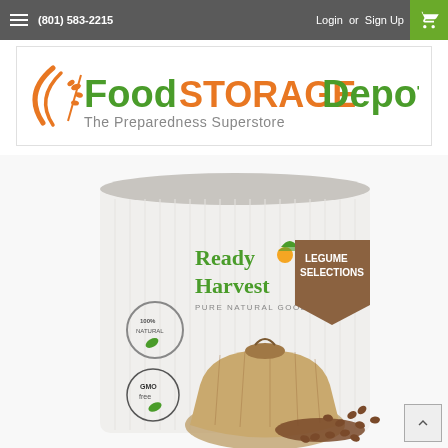(801) 583-2215   Login or Sign Up
[Figure (logo): FoodStorageDepot - The Preparedness Superstore logo with orange wheat/arc graphic]
[Figure (photo): Ready Harvest brand large storage can with 'Legume Selections' badge, '100% Natural' and 'GMO Free' seals, and a burlap bag of legumes/beans spilling out]